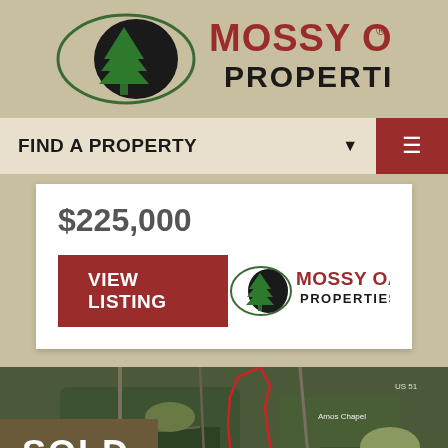[Figure (logo): Mossy Oak Properties logo with green tree icon and red/black text on tan background]
FIND A PROPERTY ▾
$225,000
VIEW LISTING
[Figure (logo): Mossy Oak Properties small logo]
[Figure (photo): Aerial satellite map view of land parcel with red outline boundary, SOLD badge overlay, and Mossy Oak Properties logo at bottom. Shows rural landscape with roads and landmarks including Little Zion Church label.]